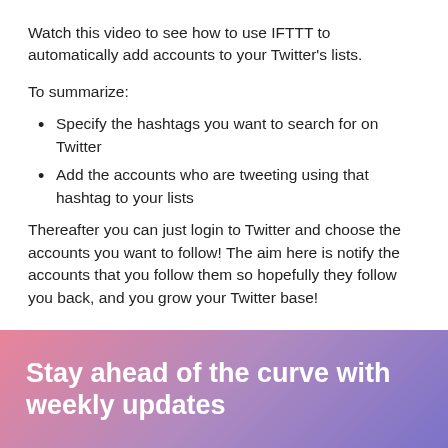Watch this video to see how to use IFTTT to automatically add accounts to your Twitter's lists.
To summarize:
Specify the hashtags you want to search for on Twitter
Add the accounts who are tweeting using that hashtag to your lists
Thereafter you can just login to Twitter and choose the accounts you want to follow! The aim here is notify the accounts that you follow them so hopefully they follow you back, and you grow your Twitter base!
[Figure (infographic): Gradient banner from pink to purple with bold white text reading 'Stay ahead of the curve with weekly updates']